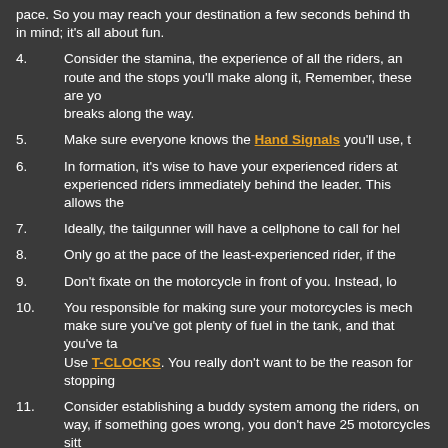pace. So you may reach your destination a few seconds behind the group, keep that in mind; it's all about fun.
4. Consider the stamina, the experience of all the riders, and the route and the stops you'll make along it, Remember, these are yo breaks along the way.
5. Make sure everyone knows the Hand Signals you'll use, t
6. In formation, it's wise to have your experienced riders at experienced riders immediately behind the leader. This allows the
7. Ideally, the tailgunner will have a cellphone to call for hel
8. Only go at the pace of the least-experienced rider, if the
9. Don't fixate on the motorcycle in front of you. Instead, lo
10. You responsible for making sure your motorcycles is mech make sure you've got plenty of fuel in the tank, and that you've ta Use T-CLOCKS. You really don't want to be the reason for stopping
11. Consider establishing a buddy system among the riders, on way, if something goes wrong, you don't have 25 motorcycles sitt